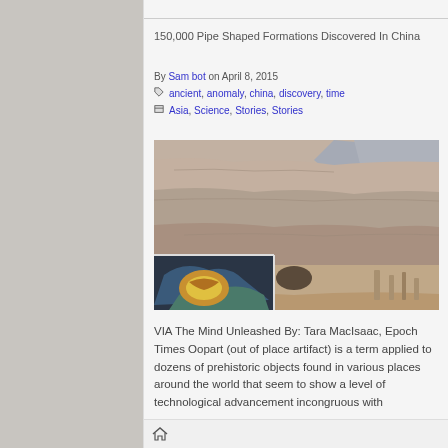150,000 Pipe Shaped Formations Discovered In China
By Sam bot on April 8, 2015
ancient, anomaly, china, discovery, time
Asia, Science, Stories, Stories
[Figure (photo): Large rock face cliff formation with layered sedimentary rocks, blue sky in upper right corner. Inset image in lower left showing a close-up of a blue and yellow rock or mineral specimen.]
VIA The Mind Unleashed By: Tara MacIsaac, Epoch Times Oopart (out of place artifact) is a term applied to dozens of prehistoric objects found in various places around the world that seem to show a level of technological advancement incongruous with